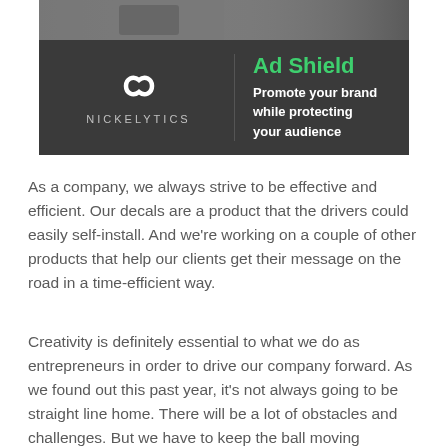[Figure (advertisement): Nickelytics Ad Shield advertisement banner. Dark background with infinity logo and brand name NICKELYTICS on the left, and 'Ad Shield' in green bold text with subtitle 'Promote your brand while protecting your audience' in white on the right.]
As a company, we always strive to be effective and efficient. Our decals are a product that the drivers could easily self-install. And we're working on a couple of other products that help our clients get their message on the road in a time-efficient way.
Creativity is definitely essential to what we do as entrepreneurs in order to drive our company forward. As we found out this past year, it's not always going to be straight line home. There will be a lot of obstacles and challenges. But we have to keep the ball moving forward, take it step by step